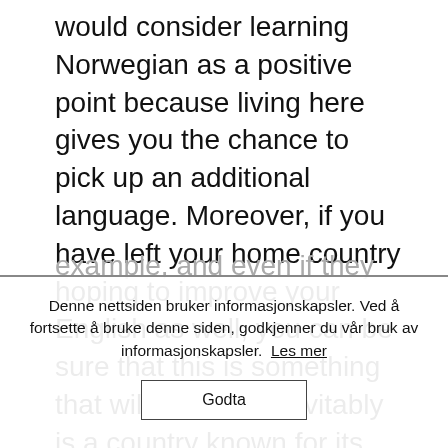would consider learning Norwegian as a positive point because living here gives you the chance to pick up an additional language. Moreover, if you have left your home country hoping to improve your English as well, you can be sure that this is something that will happen. Inevitably is a country known for its stereotypes, but you must not base your expectations on them. Norwegians are not “cold people”, for example, and even if they may not be as
Denne nettsiden bruker informasjonskapsler. Ved å fortsette å bruke denne siden, godkjenner du vår bruk av informasjonskapsler. Les mer
Godta